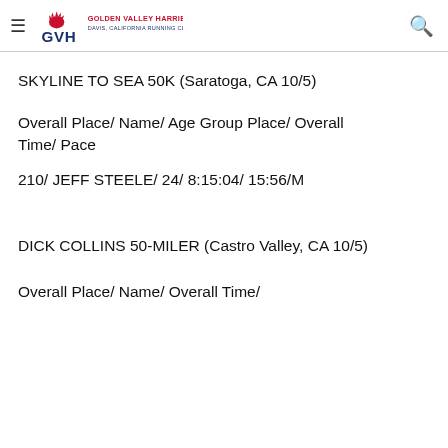Golden Valley Harriers — Davis, California Running Club
SKYLINE TO SEA 50K (Saratoga, CA 10/5)
Overall Place/ Name/ Age Group Place/ Overall Time/ Pace
210/ JEFF STEELE/ 24/ 8:15:04/ 15:56/M
DICK COLLINS 50-MILER (Castro Valley, CA 10/5)
Overall Place/ Name/ Overall Time/